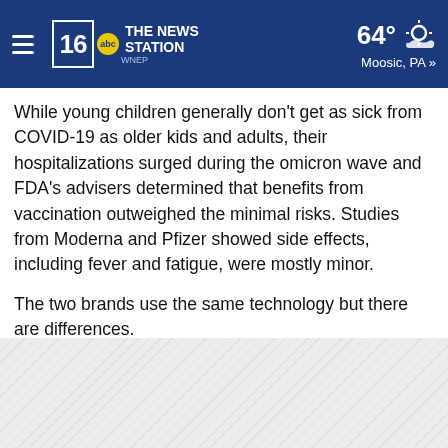16 abc THE NEWS STATION WNEP | 64° Moosic, PA »
While young children generally don't get as sick from COVID-19 as older kids and adults, their hospitalizations surged during the omicron wave and FDA's advisers determined that benefits from vaccination outweighed the minimal risks. Studies from Moderna and Pfizer showed side effects, including fever and fatigue, were mostly minor.
The two brands use the same technology but there are differences.
Pfizer's vaccine for kids younger than 5 is one-tenth of the adult dose. Three shots are needed: the first two given three weeks apart and the last at least two months later.